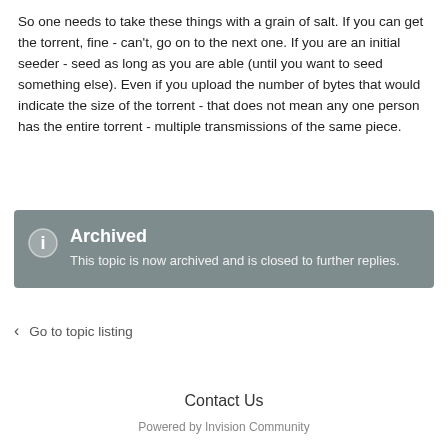So one needs to take these things with a grain of salt. If you can get the torrent, fine - can't, go on to the next one. If you are an initial seeder - seed as long as you are able (until you want to seed something else). Even if you upload the number of bytes that would indicate the size of the torrent - that does not mean any one person has the entire torrent - multiple transmissions of the same piece.
Archived
This topic is now archived and is closed to further replies.
Go to topic listing
Contact Us
Powered by Invision Community